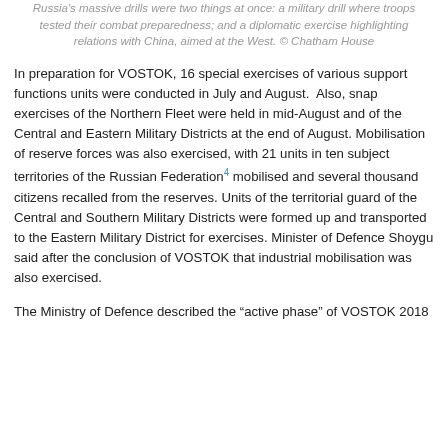Russia's massive drills were two things at once: a military drill where troops tested their combat preparedness; and a diplomatic exercise highlighting relations with China, aimed at the West. © Chatham House
In preparation for VOSTOK, 16 special exercises of various support functions units were conducted in July and August.  Also, snap exercises of the Northern Fleet were held in mid-August and of the Central and Eastern Military Districts at the end of August. Mobilisation of reserve forces was also exercised, with 21 units in ten subject territories of the Russian Federation[4] mobilised and several thousand citizens recalled from the reserves. Units of the territorial guard of the Central and Southern Military Districts were formed up and transported to the Eastern Military District for exercises. Minister of Defence Shoygu said after the conclusion of VOSTOK that industrial mobilisation was also exercised.
The Ministry of Defence described the "active phase" of VOSTOK 2018...